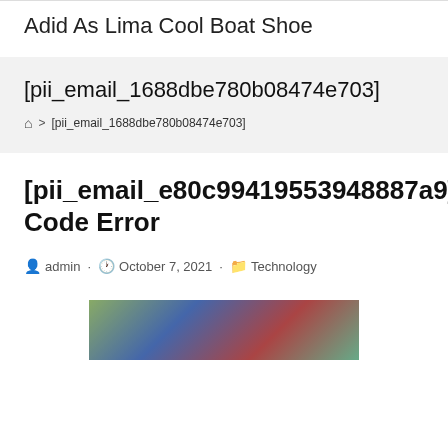Adid As Lima Cool Boat Shoe
[pii_email_1688dbe780b08474e703]
🏠 > [pii_email_1688dbe780b08474e703]
[pii_email_e80c99419553948887a9] Code Error
admin · October 7, 2021 · Technology
[Figure (photo): Partial image visible at bottom of page, colorful flag-like pattern]